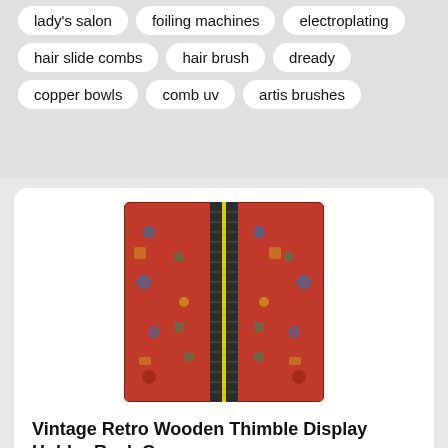lady's salon
foiling machines
electroplating
hair slide combs
hair brush
dready
copper bowls
comb uv
artis brushes
[Figure (photo): A vertical wooden thimble display rack with ribbed slots, placed on a red ornate Persian-style rug/carpet background. A yellow vertical stripe is visible in the center.]
Vintage Retro Wooden Thimble Display Holder Rack C
Vintage Retro Wooden Thimble Display Holder Rack antique wooden treen sewing stand/cotton. avon wooden thimble holder